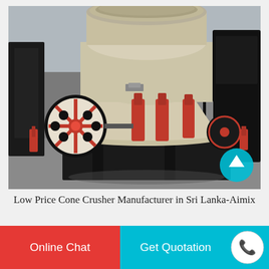[Figure (photo): Large industrial cone crusher machine in a warehouse/factory setting. The machine is cream/beige colored with black and red components including a large red flywheel on the left, red hydraulic cylinders, and a black metal frame base. Several similar black machines are visible in the background. A teal circular arrow button is visible in the lower right corner of the image.]
Low Price Cone Crusher Manufacturer in Sri Lanka-Aimix
Online Chat
Get Quotation